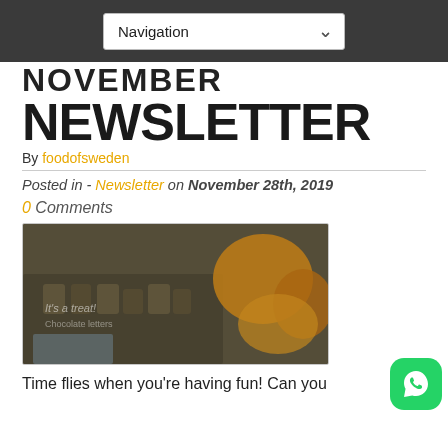Navigation
NOVEMBER NEWSLETTER
By foodofsweden
Posted in - Newsletter on November 28th, 2019
0 Comments
[Figure (photo): Close-up blurred photo of food items, chocolates or confectionery on a dark tray with yellow/orange items in background]
Time flies when you're having fun! Can you